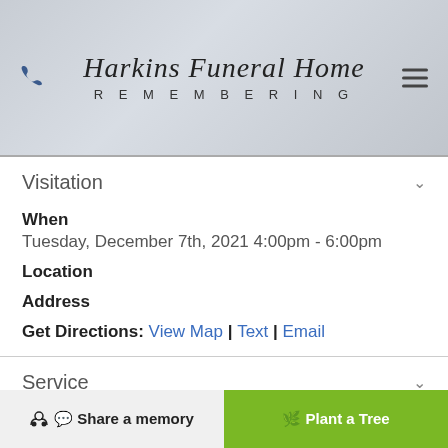Harkins Funeral Home — Remembering
Visitation
When
Tuesday, December 7th, 2021 4:00pm - 6:00pm
Location
Address
Get Directions: View Map | Text | Email
Service
When
Tuesday, December 7th, 2021 6:00pm
Share a memory   Plant a Tree